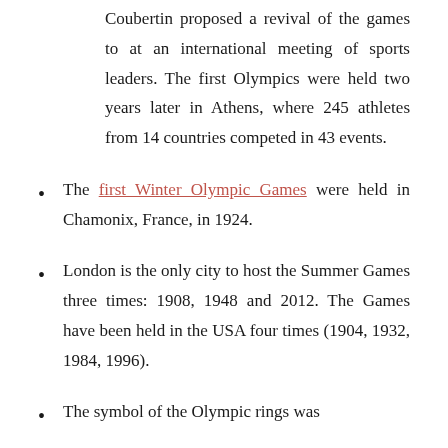Coubertin proposed a revival of the games to at an international meeting of sports leaders. The first Olympics were held two years later in Athens, where 245 athletes from 14 countries competed in 43 events.
The first Winter Olympic Games were held in Chamonix, France, in 1924.
London is the only city to host the Summer Games three times: 1908, 1948 and 2012. The Games have been held in the USA four times (1904, 1932, 1984, 1996).
The symbol of the Olympic rings was